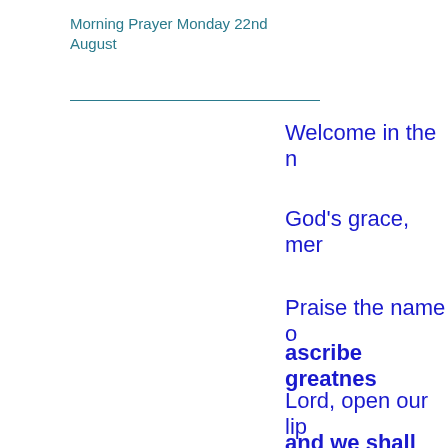Morning Prayer Monday 22nd August
Welcome in the n
God's grace, mer
Praise the name o
ascribe greatnes
Lord, open our lip
and we shall pra
Hymn: Let all the